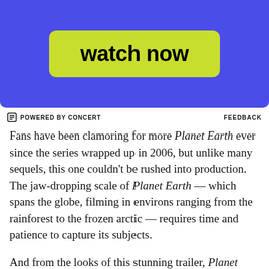[Figure (screenshot): Blue advertisement banner with a bright yellow-green 'watch now' button in the center]
⊟ POWERED BY CONCERT   FEEDBACK
Fans have been clamoring for more Planet Earth ever since the series wrapped up in 2006, but unlike many sequels, this one couldn't be rushed into production. The jaw-dropping scale of Planet Earth — which spans the globe, filming in environs ranging from the rainforest to the frozen arctic — requires time and patience to capture its subjects.
And from the looks of this stunning trailer, Planet Earth II will be worth the wait.
Planet Earth II will premiere, in the words of BBC